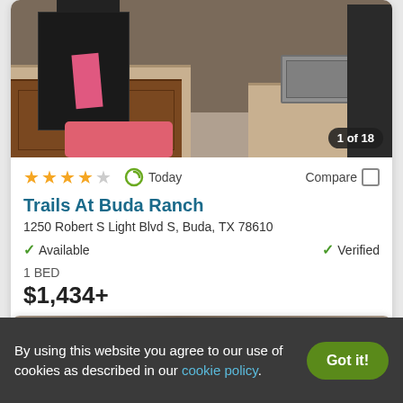[Figure (photo): Kitchen interior photo showing dark cabinets, stainless appliances, granite countertops, wood-look flooring, pink towel on stove and pink patterned rug]
1 of 18
★★★★☆  Today  Compare □
Trails At Buda Ranch
1250 Robert S Light Blvd S, Buda, TX 78610
✓ Available   ✓ Verified
1 BED
$1,434+
View Details
Contact Property
By using this website you agree to our use of cookies as described in our cookie policy.
Got it!